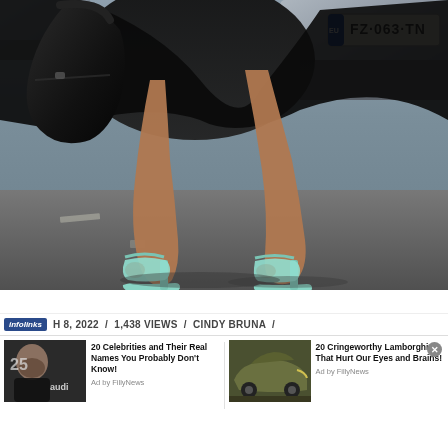[Figure (photo): Street fashion photo showing legs of a person wearing mint/teal open-toe high heel sandals, carrying a black bag, standing on a street with cars in background. A French license plate 'FZ 063 TN' is visible on a car in the upper right.]
H 8, 2022 / 1,438 VIEWS / CINDY BRUNA /
[Figure (infographic): infolinks advertisement banner with two ad cards: 1) '20 Celebrities and Their Real Names You Probably Don't Know!' Ad by FillyNews - with thumbnail of man (Ben Kingsley) at Audi event. 2) '20 Cringeworthy Lamborghinis That Hurt Our Eyes and Brains!' Ad by FillyNews - with thumbnail of olive/khaki colored Lamborghini.]